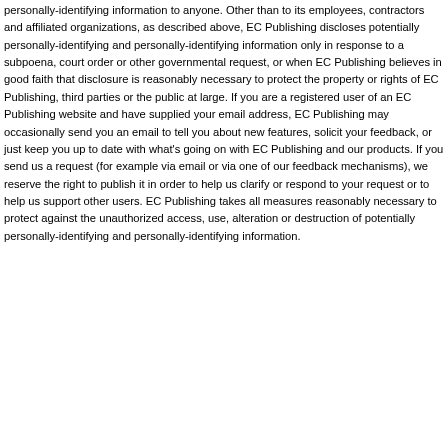personally-identifying information to anyone. Other than to its employees, contractors and affiliated organizations, as described above, EC Publishing discloses potentially personally-identifying and personally-identifying information only in response to a subpoena, court order or other governmental request, or when EC Publishing believes in good faith that disclosure is reasonably necessary to protect the property or rights of EC Publishing, third parties or the public at large. If you are a registered user of an EC Publishing website and have supplied your email address, EC Publishing may occasionally send you an email to tell you about new features, solicit your feedback, or just keep you up to date with what's going on with EC Publishing and our products. If you send us a request (for example via email or via one of our feedback mechanisms), we reserve the right to publish it in order to help us clarify or respond to your request or to help us support other users. EC Publishing takes all measures reasonably necessary to protect against the unauthorized access, use, alteration or destruction of potentially personally-identifying and personally-identifying information.